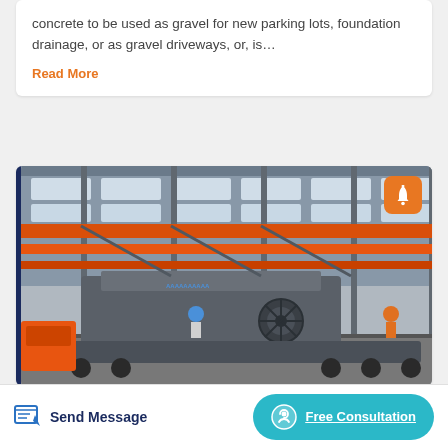concrete to be used as gravel for new parking lots, foundation drainage, or as gravel driveways, or, is…
Read More
[Figure (photo): Industrial factory interior showing large heavy machinery (mobile crusher/screening plant) on a flatbed trailer inside a large steel-frame warehouse with orange overhead cranes]
Send Message
Free Consultation